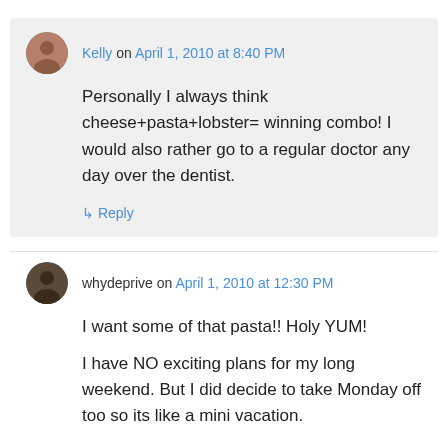Kelly on April 1, 2010 at 8:40 PM
Personally I always think cheese+pasta+lobster= winning combo! I would also rather go to a regular doctor any day over the dentist.
↳ Reply
whydeprive on April 1, 2010 at 12:30 PM
I want some of that pasta!! Holy YUM!
I have NO exciting plans for my long weekend. But I did decide to take Monday off too so its like a mini vacation.